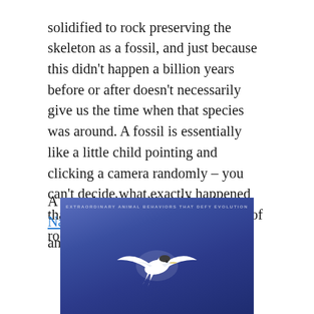solidified to rock preserving the skeleton as a fossil, and just because this didn't happen a billion years before or after doesn't necessarily give us the time when that species was around. A fossil is essentially like a little child pointing and clicking a camera randomly – you can't decide what exactly happened that day just from the photos. A lot of room for error.
A great book on this subject is Nature's IQ by by Balaz Hornyansk and Istvan Tasi.
[Figure (photo): Book cover of Nature's IQ showing a white bird (tern) in flight against a blue/purple background, with subtitle text 'EXTRAORDINARY ANIMAL BEHAVIORS THAT DEFY EVOLUTION' at the top]